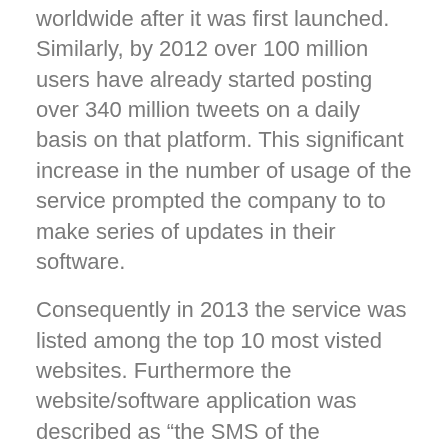worldwide after it was first launched. Similarly, by 2012 over 100 million users have already started posting over 340 million tweets on a daily basis on that platform. This significant increase in the number of usage of the service prompted the company to to make series of updates in their software.
Consequently in 2013 the service was listed among the top 10 most visted websites. Furthermore the website/software application was described as “the SMS of the Internet”.
Meanwhile, by 2018, Twitter already had over 321 million monthly active users. For instance, during the 2016 U.S. presidential election, Twitter was the basic social media that was used for the election campaign.
On the area of breaking news/latest news updates,